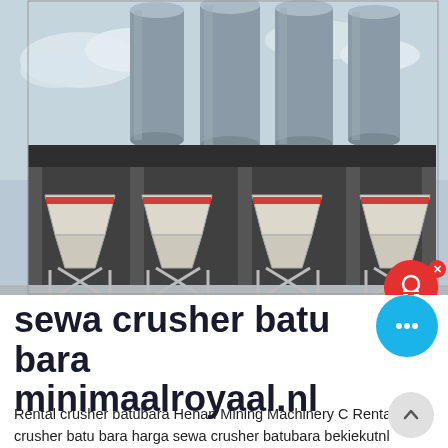[Figure (photo): Industrial building with large metal silos/tanks on the roof and four white hopper/aggregate storage bins with X-brace supports in the foreground, under a grey sky.]
sewa crusher batu bara minimaalroyaal.nl
Rental crusher batubara Henan Mining Machinery C Rental crusher batu bara harga sewa crusher batubara bekiekutnl sewa stone crusher pekanbaru is a kind of